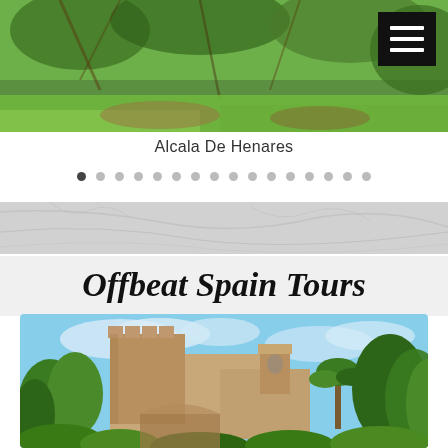[Figure (photo): Aerial or close-up photo of a green garden with grapevines and grass, showing a historic park area in Alcala De Henares, Spain. A hamburger menu icon in a black box is overlaid in the top-right corner.]
Alcala De Henares
[Figure (other): Carousel dot navigation row with 16 dots; the first dot is darker (active) and remaining 15 are light gray.]
[Figure (photo): Light gray textured stone or marble background strip used as a section divider.]
Offbeat Spain Tours
[Figure (photo): Photo of a historic Spanish castle/fortress with a large tower on the left, a church-like building with a bell tower in the center-right, and lush green trees surrounding the structure under a blue sky with clouds.]